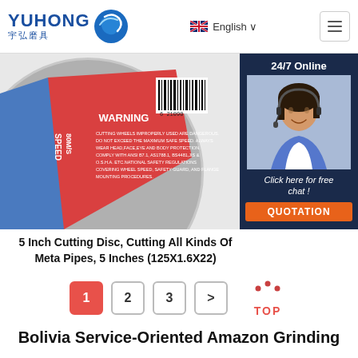[Figure (logo): YUHONG 宇弘磨具 logo with blue wave icon, English language selector with UK flag, and hamburger menu button]
[Figure (photo): 5 inch cutting disc close-up showing WARNING label, SPEED 80M/S marking, barcode, and a chat widget overlay with a customer service agent and '24/7 Online', 'Click here for free chat!', and QUOTATION button]
5 Inch Cutting Disc, Cutting All Kinds Of Meta Pipes, 5 Inches (125X1.6X22)
[Figure (other): Pagination controls showing buttons 1 (active/red), 2, 3, > and a TOP button with arc dots icon]
Bolivia Service-Oriented Amazon Grinding